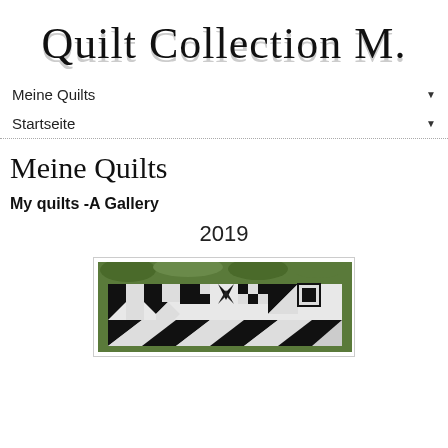Quilt Collection M.
Meine Quilts ▼
Startseite ▼
Meine Quilts
My quilts -A Gallery
2019
[Figure (photo): A black and white geometric quilt displayed outdoors against green foliage, featuring bold angular patterns.]